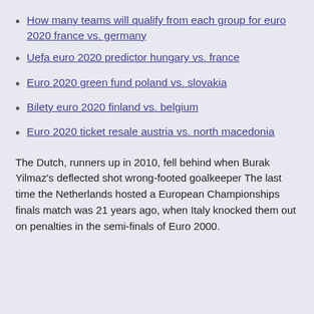How many teams will qualify from each group for euro 2020 france vs. germany
Uefa euro 2020 predictor hungary vs. france
Euro 2020 green fund poland vs. slovakia
Bilety euro 2020 finland vs. belgium
Euro 2020 ticket resale austria vs. north macedonia
The Dutch, runners up in 2010, fell behind when Burak Yilmaz's deflected shot wrong-footed goalkeeper The last time the Netherlands hosted a European Championships finals match was 21 years ago, when Italy knocked them out on penalties in the semi-finals of Euro 2000.